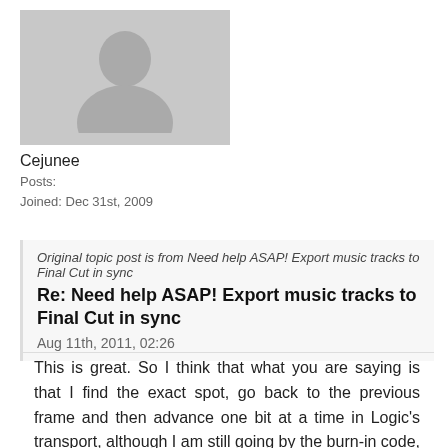[Figure (illustration): Default user avatar silhouette on gray background]
Cejunee
Posts:
Joined: Dec 31st, 2009
Original topic post is from Need help ASAP! Export music tracks to Final Cut in sync
Re: Need help ASAP! Export music tracks to Final Cut in sync
Aug 11th, 2011, 02:26
This is great. So I think that what you are saying is that I find the exact spot, go back to the previous frame and then advance one bit at a time in Logic's transport, although I am still going by the burn-in code, not the the Logic transport.
One last qustion. As I have said, the filmmaker is a bit new at this. I believe that she incorrectly set the framerate at 24 fps when she set up the TC Generator. She probably should have set it at 23.976. If she made this mistake at the time of generating the burn-in timecode, then are my reference points